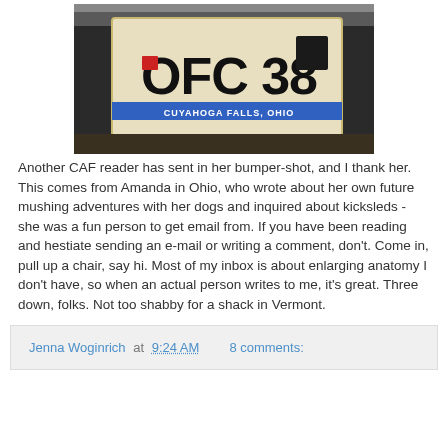[Figure (photo): Close-up photograph of an Ohio license plate showing 'OFC 38' with a blue stripe and 'CUYAHOGA FALLS, OHIO' text at the bottom, mounted on the back of a vehicle bumper]
Another CAF reader has sent in her bumper-shot, and I thank her. This comes from Amanda in Ohio, who wrote about her own future mushing adventures with her dogs and inquired about kicksleds - she was a fun person to get email from. If you have been reading and hestiate sending an e-mail or writing a comment, don't. Come in, pull up a chair, say hi. Most of my inbox is about enlarging anatomy I don't have, so when an actual person writes to me, it's great. Three down, folks. Not too shabby for a shack in Vermont.
Jenna Woginrich at 9:24 AM   8 comments: